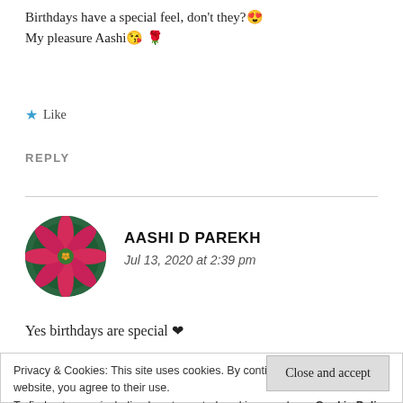Birthdays have a special feel, don't they? 😍
My pleasure Aashi 😘 🌹
★ Like
REPLY
[Figure (photo): Circular avatar showing a red flower (poinsettia) with green leaves background]
AASHI D PAREKH
Jul 13, 2020 at 2:39 pm
Yes birthdays are special ❤
Privacy & Cookies: This site uses cookies. By continuing to use this website, you agree to their use.
To find out more, including how to control cookies, see here: Cookie Policy